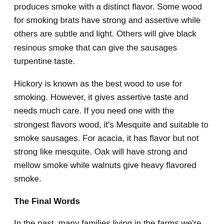produces smoke with a distinct flavor. Some wood for smoking brats have strong and assertive while others are subtle and light. Others will give black resinous smoke that can give the sausages turpentine taste.
Hickory is known as the best wood to use for smoking. However, it gives assertive taste and needs much care. If you need one with the strongest flavors wood, it's Mesquite and suitable to smoke sausages. For acacia, it has flavor but not strong like mesquite. Oak will have strong and mellow smoke while walnuts give heavy flavored smoke.
The Final Words
In the past, many families living in the farms we're smoking their sausages and meats using dried corn cobs. Besides, it's a good smoke for meat as it's pungent and not heavy tasting.
Today, you will find it hard to come across such a one as it is hard to come t...